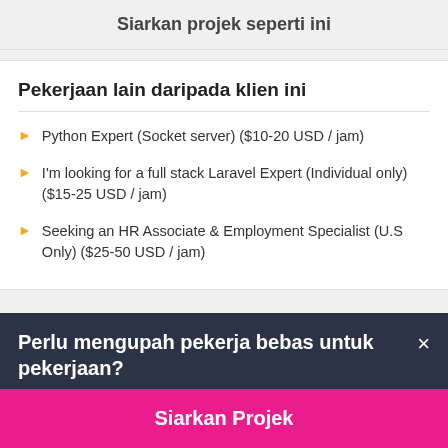Siarkan projek seperti ini
Pekerjaan lain daripada klien ini
Python Expert (Socket server) ($10-20 USD / jam)
I'm looking for a full stack Laravel Expert (Individual only) ($15-25 USD / jam)
Seeking an HR Associate & Employment Specialist (U.S Only) ($25-50 USD / jam)
Perlu mengupah pekerja bebas untuk pekerjaan?
Siarkan Projek